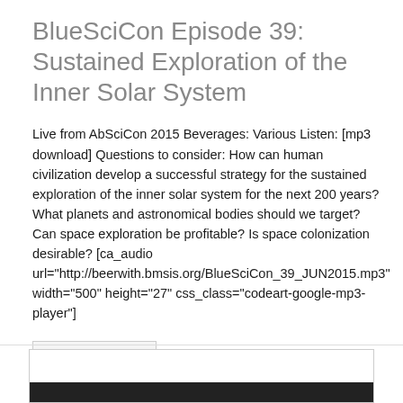BlueSciCon Episode 39: Sustained Exploration of the Inner Solar System
Live from AbSciCon 2015 Beverages: Various Listen: [mp3 download] Questions to consider: How can human civilization develop a successful strategy for the sustained exploration of the inner solar system for the next 200 years? What planets and astronomical bodies should we target? Can space exploration be profitable? Is space colonization desirable? [ca_audio url="http://beerwith.bmsis.org/BlueSciCon_39_JUN2015.mp3" width="500" height="27" css_class="codeart-google-mp3-player"]
Read more